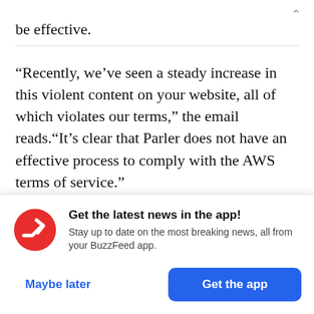be effective.
“Recently, we’ve seen a steady increase in this violent content on your website, all of which violates our terms,” the email reads.“It’s clear that Parler does not have an effective process to comply with the AWS terms of service.”
An Amazon spokesperson declined to comment on
[Figure (logo): BuzzFeed News app icon: red circle with white trending arrow]
Get the latest news in the app! Stay up to date on the most breaking news, all from your BuzzFeed app.
Maybe later
Get the app